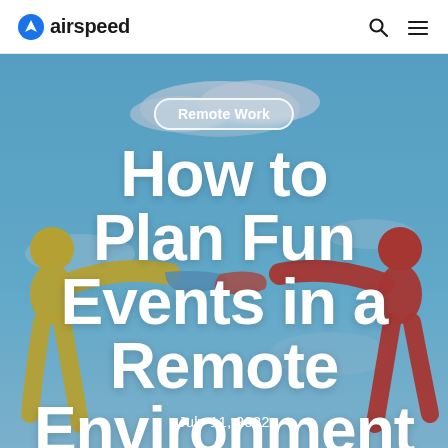airspeed
[Figure (photo): Hero image of colorful toy figures (yellow and red) reaching toward each other against a blue sky background, with the article title overlaid in large white bold text.]
Remote Work
How to Plan Fun Events in a Remote Environment
July 11, 2022